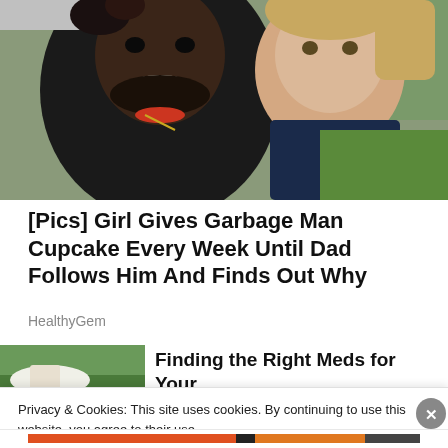[Figure (photo): A smiling man and a young blonde girl posing together for a selfie photo outdoors]
[Pics] Girl Gives Garbage Man Cupcake Every Week Until Dad Follows Him And Finds Out Why
HealthyGem
[Figure (photo): Thumbnail image for second article - green outdoor background with hand visible]
Finding the Right Meds for Your
Privacy & Cookies: This site uses cookies. By continuing to use this website, you agree to their use.
To find out more, including how to control cookies, see here: Cookie Policy
Close and accept